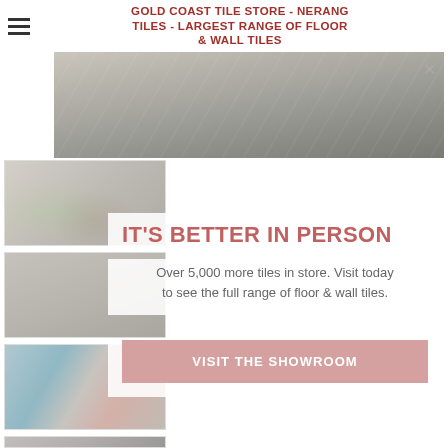GOLD COAST TILE STORE - NERANG TILES - LARGEST RANGE OF FLOOR & WALL TILES
[Figure (photo): Main wide banner photo of stone/concrete floor tiles in grey tones, outdoor setting]
[Figure (photo): Thumbnail 1: Close-up of wall tiles with plant accent]
[Figure (photo): Thumbnail 2: Grey stone floor tiles texture]
[Figure (photo): Thumbnail 3: Blue pool tiles with pink/terracotta accent tiles]
[Figure (photo): Thumbnail 4: Floor tiles with decorative detail]
[Figure (photo): Thumbnail 5: Light grey floor tiles (partially visible)]
IT'S BETTER IN PERSON
Over 5,000 more tiles in store. Visit today to see the full range of floor & wall tiles.
VISIT THE SHOWROOM